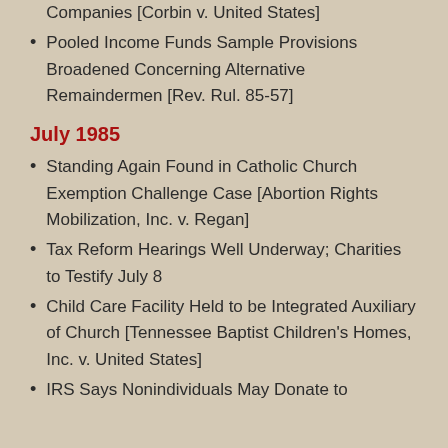Companies [Corbin v. United States]
Pooled Income Funds Sample Provisions Broadened Concerning Alternative Remaindermen [Rev. Rul. 85-57]
July 1985
Standing Again Found in Catholic Church Exemption Challenge Case [Abortion Rights Mobilization, Inc. v. Regan]
Tax Reform Hearings Well Underway; Charities to Testify July 8
Child Care Facility Held to be Integrated Auxiliary of Church [Tennessee Baptist Children's Homes, Inc. v. United States]
IRS Says Nonindividuals May Donate to